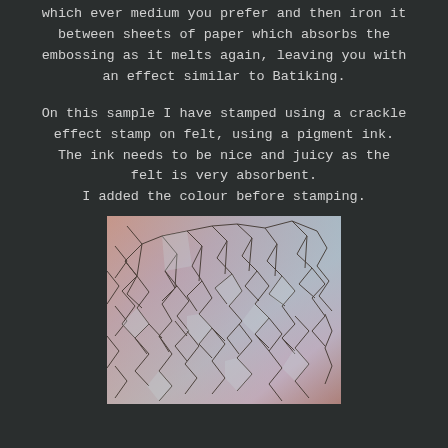which ever medium you prefer and then iron it between sheets of paper which absorbs the embossing as it melts again, leaving you with an effect similar to Batiking.
On this sample I have stamped using a crackle effect stamp on felt, using a pigment ink. The ink needs to be nice and juicy as the felt is very absorbent. I added the colour before stamping.
[Figure (photo): A close-up photo of fabric or felt with a crackle stamp effect, showing irregular polygon-shaped cracks across the surface. The colors include muted pink/rose on the left, light blue/grey in the center, and lavender/purple tones at the bottom, with reddish-brown at bottom right. The crackle lines are dark and create a mosaic-like pattern.]